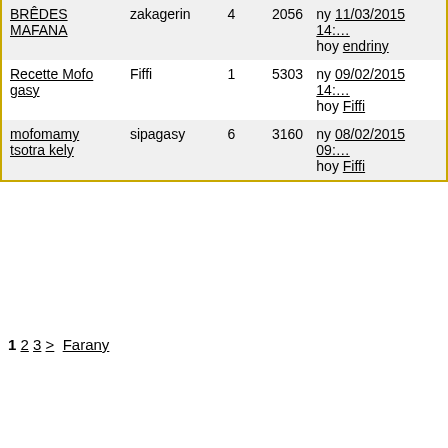| BRÊDES MAFANA | zakagerin | 4 | 2056 | ny 11/03/2015 14:… hoy endriny |
| Recette Mofo gasy | Fiffi | 1 | 5303 | ny 09/02/2015 14:… hoy Fiffi |
| mofomamy tsotra kely | sipagasy | 6 | 3160 | ny 08/02/2015 09:… hoy Fiffi |
1 2 3 > Farany